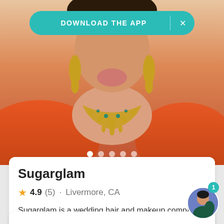[Figure (photo): Photo of woman in Indian bridal attire with gold jewelry and orange/red saree]
DOWNLOAD THE APP
Sugarglam
4.9 (5) · Livermore, CA
Sugarglam is a wedding hair and makeup company based in Livermore, California, specializing in Indian makeup,… Read more
Request pricing